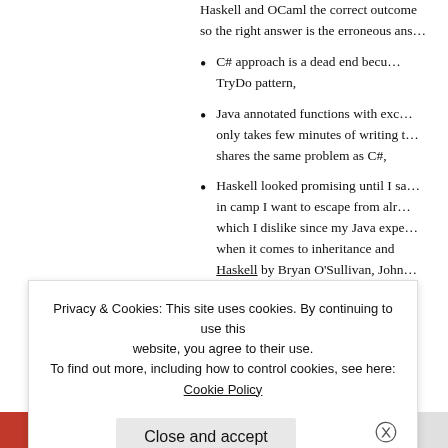Haskell and OCaml the correct outcome so the right answer is the erroneous ans…
C# approach is a dead end because TryDo pattern,
Java annotated functions with exc… only takes few minutes of writing t… shares the same problem as C#,
Haskell looked promising until I sa… in camp I want to escape from alr… which I dislike since my Java expe… when it comes to inheritance and Haskell by Bryan O'Sullivan, John… something is fishy, if one feature k… use both.
Privacy & Cookies: This site uses cookies. By continuing to use this website, you agree to their use. To find out more, including how to control cookies, see here: Cookie Policy
Close and accept